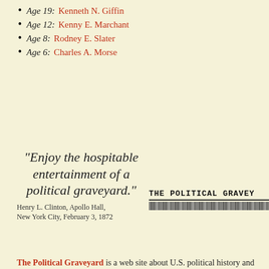Age 19: Kenneth N. Giffin
Age 12: Kenny E. Marchant
Age 8: Rodney E. Slater
Age 6: Charles A. Morse
"Enjoy the hospitable entertainment of a political graveyard."
Henry L. Clinton, Apollo Hall, New York City, February 3, 1872
[Figure (other): The Political Graveyard masthead logo with decorative text band below]
The Political Graveyard is a web site about U.S. political history and